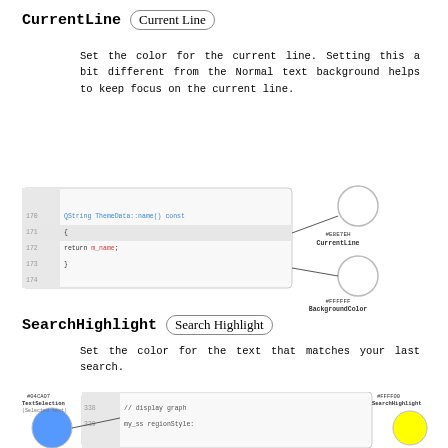CurrentLine (Current Line)
Set the color for the current line. Setting this a bit different from the Normal text background helps to keep focus on the current line.
[Figure (illustration): Code editor screenshot showing line 172 highlighted, with annotations pointing to two color swatches: #E8E7EH CurrentLine (lighter gray circle) and #FFFFFF BackgroundColor Text Area (white circle).]
SearchHighlight (Search Highlight)
Set the color for the text that matches your last search.
[Figure (illustration): Code editor screenshot showing text selection and search highlight annotations. Blue circle labeled #04CA07 TextSelection (Selected text) and yellow circle labeled #FFFF00 SearchHighlight.]